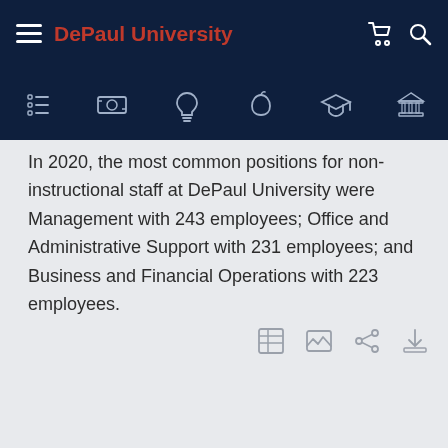DePaul University
In 2020, the most common positions for non-instructional staff at DePaul University were Management with 243 employees; Office and Administrative Support with 231 employees; and Business and Financial Operations with 223 employees.